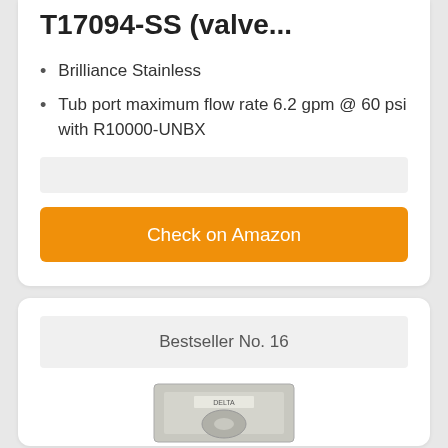T17094-SS (valve...
Brilliance Stainless
Tub port maximum flow rate 6.2 gpm @ 60 psi with R10000-UNBX
Check on Amazon
Bestseller No. 16
[Figure (photo): Product photo of a Delta valve/faucet fixture in stainless finish, partially visible at bottom of page]